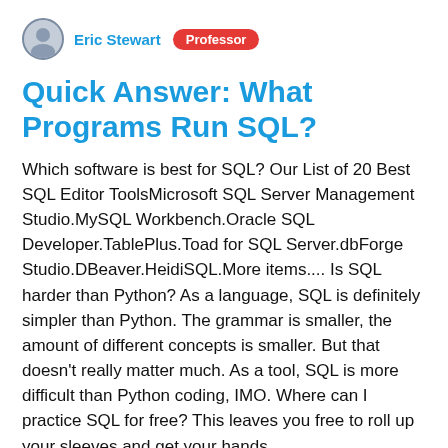Eric Stewart  Professor
Quick Answer: What Programs Run SQL?
Which software is best for SQL? Our List of 20 Best SQL Editor ToolsMicrosoft SQL Server Management Studio.MySQL Workbench.Oracle SQL Developer.TablePlus.Toad for SQL Server.dbForge Studio.DBeaver.HeidiSQL.More items.... Is SQL harder than Python? As a language, SQL is definitely simpler than Python. The grammar is smaller, the amount of different concepts is smaller. But that doesn't really matter much. As a tool, SQL is more difficult than Python coding, IMO. Where can I practice SQL for free? This leaves you free to roll up your sleeves and get your hands